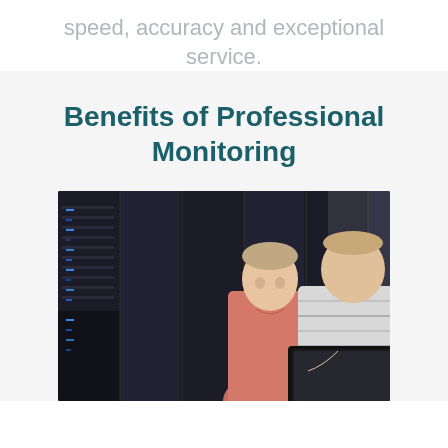speed, accuracy and exceptional service.
Benefits of Professional Monitoring
[Figure (photo): Two men in a server room, one in a pink polo shirt and one in a striped shirt, looking at a laptop together, with rows of black server racks behind them]